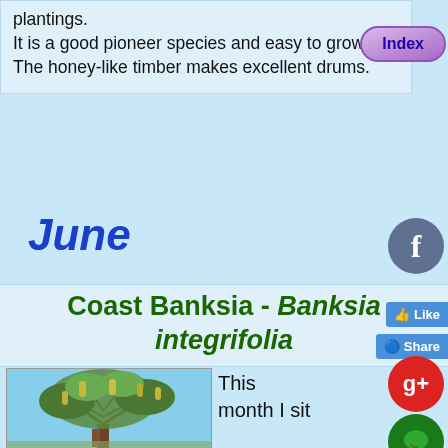plantings.
It is a good pioneer species and easy to grow.
The honey-like timber makes excellent drums.
Index
June
Coast Banksia - Banksia integrifolia
[Figure (photo): Photo of Coast Banksia (Banksia integrifolia) tree with yellow cone-shaped flower spikes against a blue sky]
This month I sit